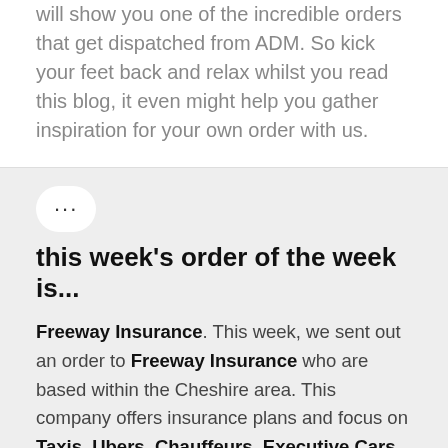will show you one of the incredible orders that get dispatched from ADM. So kick your feet back and relax whilst you read this blog, it even might help you gather inspiration for your own order with us.
...
this week's order of the week is...
Freeway Insurance. This week, we sent out an order to Freeway Insurance who are based within the Cheshire area. This company offers insurance plans and focus on Taxis, Ubers, Chauffeurs, Executive Cars and Breakdown Cover plans whilst having over 20 years of experiences in the industry. They also have a page on their Website with updates and news articles based on the roads, to help everyone drive safely wherever